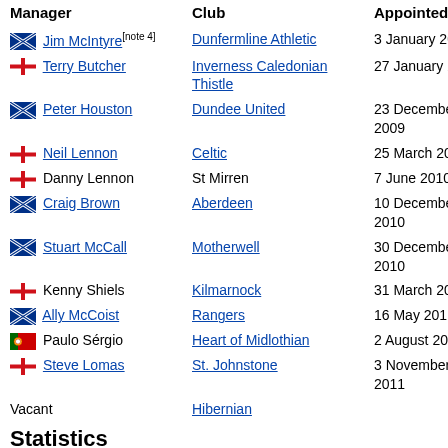| Manager | Club | Appointed |
| --- | --- | --- |
| 🏴󠁧󠁢󠁳󠁣󠁴󠁿 Jim McIntyre[note 4] | Dunfermline Athletic | 3 January 2008 |
| 🏴󠁧󠁢󠁥󠁮󠁧󠁿 Terry Butcher | Inverness Caledonian Thistle | 27 January 2009 |
| 🏴󠁧󠁢󠁳󠁣󠁴󠁿 Peter Houston | Dundee United | 23 December 2009 |
| 🏴󠁧󠁢󠁥󠁮󠁧󠁿 Neil Lennon | Celtic | 25 March 2010 |
| 🏴󠁧󠁢󠁥󠁮󠁧󠁿 Danny Lennon | St Mirren | 7 June 2010 |
| 🏴󠁧󠁢󠁳󠁣󠁴󠁿 Craig Brown | Aberdeen | 10 December 2010 |
| 🏴󠁧󠁢󠁳󠁣󠁴󠁿 Stuart McCall | Motherwell | 30 December 2010 |
| 🏴󠁧󠁢󠁥󠁮󠁧󠁿 Kenny Shiels | Kilmarnock | 31 March 2011 |
| 🏴󠁧󠁢󠁳󠁣󠁴󠁿 Ally McCoist | Rangers | 16 May 2011 |
| 🇵🇹 Paulo Sérgio | Heart of Midlothian | 2 August 2011 |
| 🏴󠁧󠁢󠁥󠁮󠁧󠁿 Steve Lomas | St. Johnstone | 3 November 2011 |
| Vacant | Hibernian |  |
Statistics